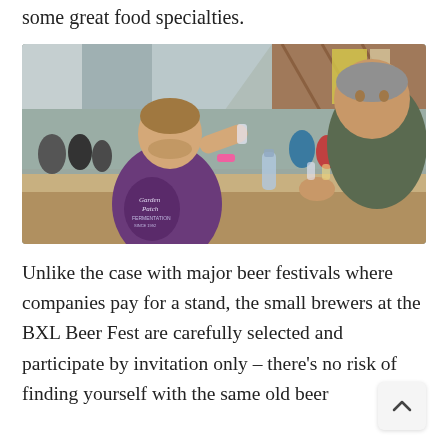some great food specialties.
[Figure (photo): Two men at a beer festival event inside a large industrial hall. One man in a purple t-shirt with 'Garden Patch Fermentation' logo is smelling/tasting beer from a glass; another older man faces him across a bar. Background shows a crowd of festival attendees.]
Unlike the case with major beer festivals where companies pay for a stand, the small brewers at the BXL Beer Fest are carefully selected and participate by invitation only – there's no risk of finding yourself with the same old beer